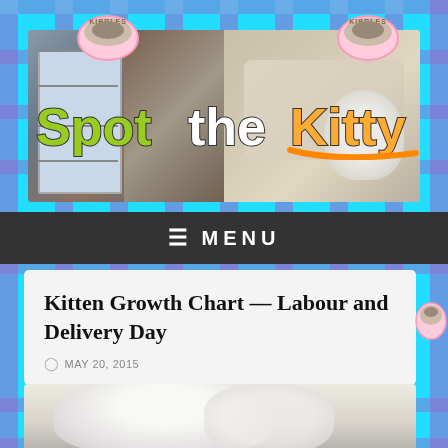[Figure (screenshot): Website header banner for 'Spot the Kitty' blog showing composite photo of cats and kitchen scenes with colorful logo text overlaid. Cyan/blue checkered background with 'Kibbles' bowl decorations in corners.]
≡ MENU
Kitten Growth Chart — Labour and Delivery Day
MAY 20, 2015
[Figure (photo): Partial view of a white fluffy cat or kitten, mostly white fur visible at bottom of page]